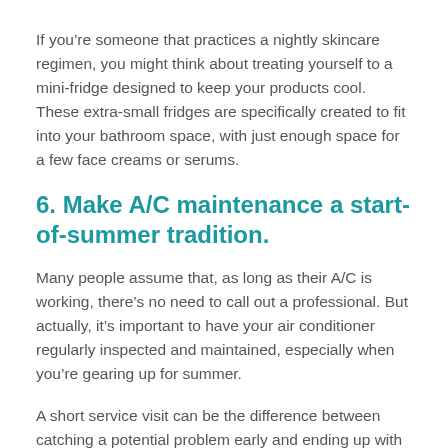If you're someone that practices a nightly skincare regimen, you might think about treating yourself to a mini-fridge designed to keep your products cool. These extra-small fridges are specifically created to fit into your bathroom space, with just enough space for a few face creams or serums.
6. Make A/C maintenance a start-of-summer tradition.
Many people assume that, as long as their A/C is working, there's no need to call out a professional. But actually, it's important to have your air conditioner regularly inspected and maintained, especially when you're gearing up for summer.
A short service visit can be the difference between catching a potential problem early and ending up with a very expensive issue down the road, saving you a significant amount of money, stress, and hassle. Plus,